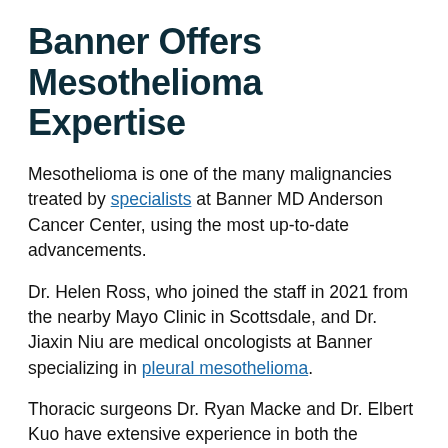Banner Offers Mesothelioma Expertise
Mesothelioma is one of the many malignancies treated by specialists at Banner MD Anderson Cancer Center, using the most up-to-date advancements.
Dr. Helen Ross, who joined the staff in 2021 from the nearby Mayo Clinic in Scottsdale, and Dr. Jiaxin Niu are medical oncologists at Banner specializing in pleural mesothelioma.
Thoracic surgeons Dr. Ryan Macke and Dr. Elbert Kuo have extensive experience in both the aggressive and minimally invasive procedures being used today with pleural mesothelioma. Radiation oncologist Dr. Josh Niska also has considerable experience treating the disease